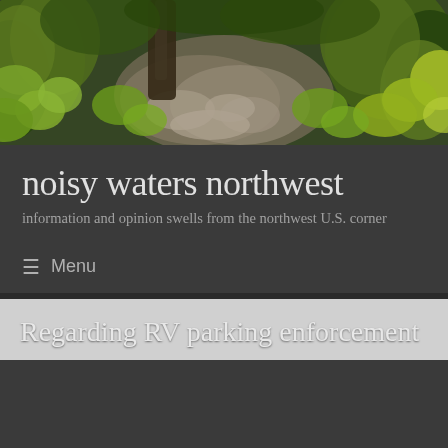[Figure (photo): Header banner image showing a lush green forest scene with ferns, trees, and rocky ground with dappled light. Vibrant greens and yellows with a stream or rocky path in center.]
noisy waters northwest
information and opinion swells from the northwest U.S. corner
≡  Menu
Regarding RV parking enforcement